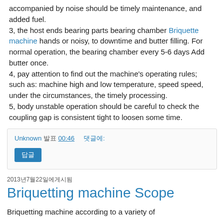accompanied by noise should be timely maintenance, and added fuel.
3, the host ends bearing parts bearing chamber Briquette machine hands or noisy, to downtime and butter filling. For normal operation, the bearing chamber every 5-6 days Add butter once.
4, pay attention to find out the machine's operating rules; such as: machine high and low temperature, speed speed, under the circumstances, the timely processing.
5, body unstable operation should be careful to check the coupling gap is consistent tight to loosen some time.
Unknown 발표 00:46    댓글에:
답글
2013년7월22일에게시됨
Briquetting machine Scope
Briquetting machine according to a variety of